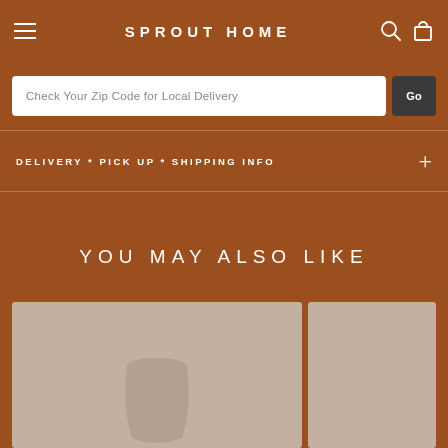SPROUT HOME
Check Your Zip Code for Local Delivery
DELIVERY * PICK UP * SHIPPING INFO
YOU MAY ALSO LIKE
[Figure (photo): Product photo showing a ceramic planter or pot in a beige/neutral tone against a light background]
[Figure (photo): Partially visible product photo on the right side, same beige/neutral background]